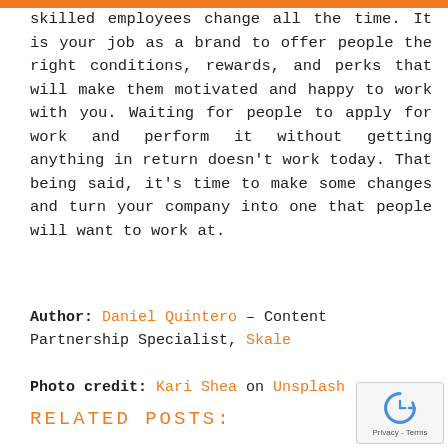skilled employees change all the time. It is your job as a brand to offer people the right conditions, rewards, and perks that will make them motivated and happy to work with you. Waiting for people to apply for work and perform it without getting anything in return doesn't work today. That being said, it's time to make some changes and turn your company into one that people will want to work at.
Author: Daniel Quintero – Content Partnership Specialist, Skale
Photo credit: Kari Shea on Unsplash
RELATED POSTS:
[Figure (other): reCAPTCHA badge with circular arrow icon and Privacy - Terms text]